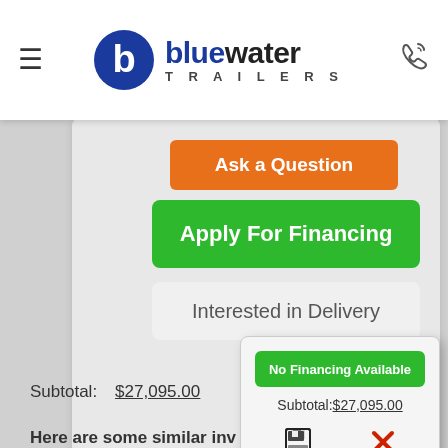[Figure (logo): Bluewater Trailers logo with hamburger menu and phone icon in white header bar]
[Figure (screenshot): Orange Ask a Question button]
[Figure (screenshot): Green Apply For Financing button]
[Figure (screenshot): Light gray Interested in Delivery button]
Subtotal: $27,095.00
No Financing Available
[Figure (screenshot): Popup tooltip showing No Financing Available green button, Subtotal $27,095.00, save icon and red X close icon]
Here are some similar inv